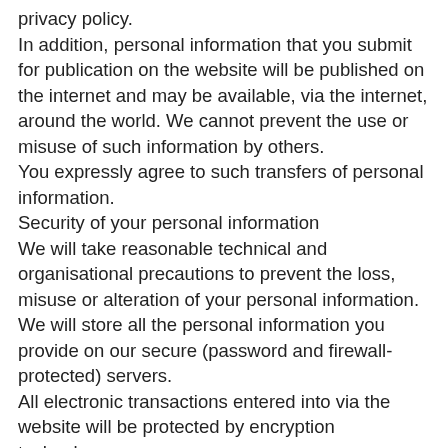privacy policy.
In addition, personal information that you submit for publication on the website will be published on the internet and may be available, via the internet, around the world. We cannot prevent the use or misuse of such information by others.
You expressly agree to such transfers of personal information.
Security of your personal information
We will take reasonable technical and organisational precautions to prevent the loss, misuse or alteration of your personal information.
We will store all the personal information you provide on our secure (password and firewall-protected) servers.
All electronic transactions entered into via the website will be protected by encryption technology.
You acknowledge that the transmission of information over the internet is inherently insecure, and we cannot guarantee the security of data sent over the internet.